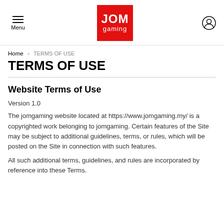Menu | JOM gaming | user icon
Home › TERMS OF USE
TERMS OF USE
Website Terms of Use
Version 1.0
The jomgaming website located at https://www.jomgaming.my/ is a copyrighted work belonging to jomgaming. Certain features of the Site may be subject to additional guidelines, terms, or rules, which will be posted on the Site in connection with such features.
All such additional terms, guidelines, and rules are incorporated by reference into these Terms.